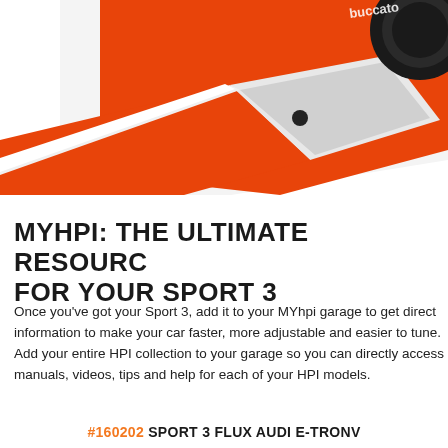[Figure (photo): Close-up photo of an orange/red RC car (Sport 3) showing the body, white panel detail, black wheel/tire, and partial text on the body. The car is photographed at an angle from above.]
MYHPI: THE ULTIMATE RESOURCE FOR YOUR SPORT 3
Once you've got your Sport 3, add it to your MYhpi garage to get direct information to make your car faster, more adjustable and easier to tune. Add your entire HPI collection to your garage so you can directly access manuals, videos, tips and help for each of your HPI models.
#160202 SPORT 3 FLUX AUDI E-TRONV